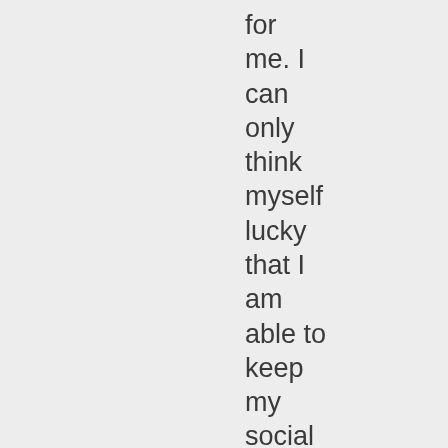for me. I can only think myself lucky that I am able to keep my social anxiety at bay.